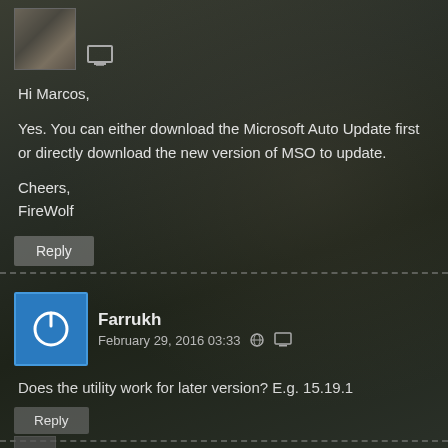[Figure (photo): User avatar thumbnail showing a dark image, partially visible at top left]
Hi Marcos,
Yes. You can either download the Microsoft Auto Update first or directly download the new version of MSO to update.
Cheers,
FireWolf
Reply
[Figure (photo): Blue avatar icon with white power button symbol for user Farrukh]
Farrukh   February 29, 2016 03:33
Does the utility work for later version? E.g. 15.19.1
Reply